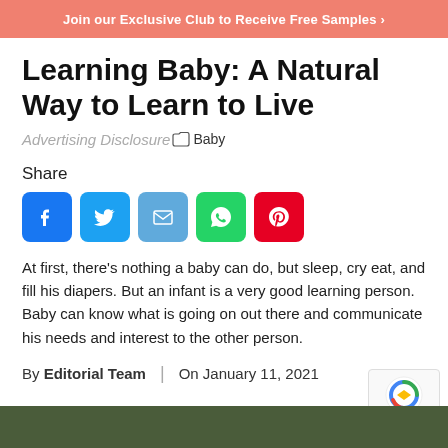Join our Exclusive Club to Receive Free Samples >
Learning Baby: A Natural Way to Learn to Live
Advertising Disclosure  Baby
Share
[Figure (infographic): Social share buttons: Facebook, Twitter, Email, WhatsApp, Pinterest]
At first, there's nothing a baby can do, but sleep, cry eat, and fill his diapers. But an infant is a very good learning person. Baby can know what is going on out there and communicate his needs and interest to the other person.
By Editorial Team | On January 11, 2021